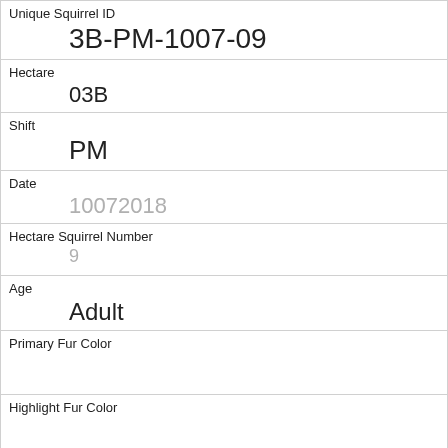| Unique Squirrel ID | 3B-PM-1007-09 |
| Hectare | 03B |
| Shift | PM |
| Date | 10072018 |
| Hectare Squirrel Number | 9 |
| Age | Adult |
| Primary Fur Color |  |
| Highlight Fur Color |  |
| Combination of Primary and Highlight Color | + |
| Color notes |  |
| Location |  |